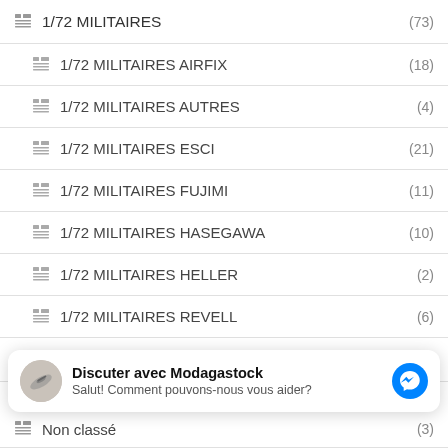1/72 MILITAIRES (73)
1/72 MILITAIRES AIRFIX (18)
1/72 MILITAIRES AUTRES (4)
1/72 MILITAIRES ESCI (21)
1/72 MILITAIRES FUJIMI (11)
1/72 MILITAIRES HASEGAWA (10)
1/72 MILITAIRES HELLER (2)
1/72 MILITAIRES REVELL (6)
1/76 MILITAIRES (7)
[Figure (screenshot): Facebook Messenger chat widget with avatar showing 'Discuter avec Modagastock' and subtitle 'Salut! Comment pouvons-nous vous aider?']
Non classé (3)